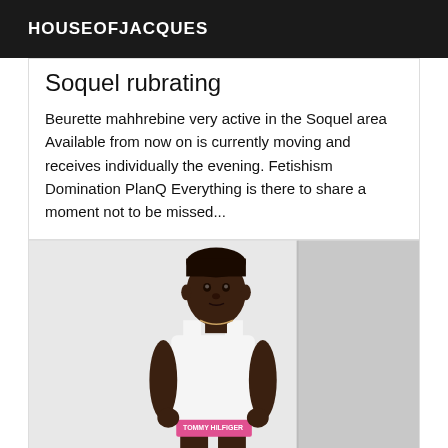HOUSEOFJACQUES
Soquel rubrating
Beurette mahhrebine very active in the Soquel area Available from now on is currently moving and receives individually the evening. Fetishism Domination PlanQ Everything is there to share a moment not to be missed...
[Figure (photo): A man wearing a white tank top and pink underwear standing against a light background]